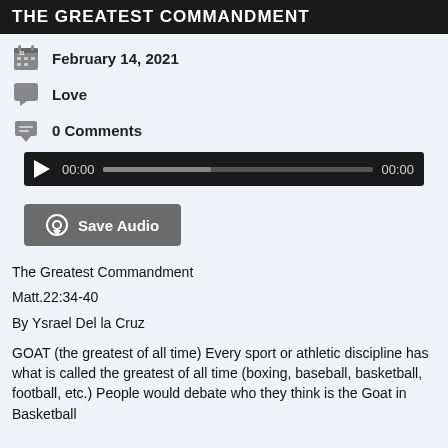THE GREATEST COMMANDMENT
February 14, 2021
Love
0 Comments
[Figure (other): Audio player with play button, time 00:00, progress bar, and end time 00:00]
[Figure (other): Save Audio button with download icon]
The Greatest Commandment
Matt.22:34-40
By Ysrael Del la Cruz
GOAT (the greatest of all time) Every sport or athletic discipline has what is called the greatest of all time (boxing, baseball, basketball, football, etc.) People would debate who they think is the Goat in Basketball